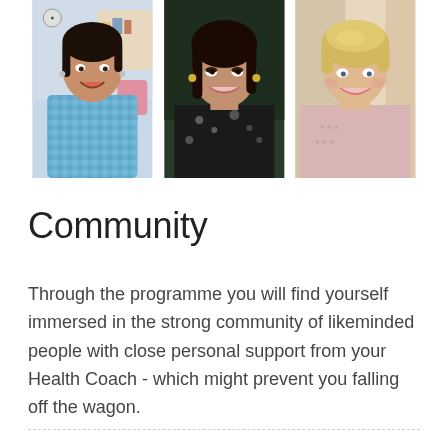[Figure (photo): Three women smiling in a horizontal triptych photo arrangement: a young South Asian woman on the left in a colorful top, a middle-aged woman with dark hair in the center wearing a floral dark top, and an older blonde woman on the right in a light pink top.]
Community
Through the programme you will find yourself immersed in the strong community of likeminded people with close personal support from your Health Coach - which might prevent you falling off the wagon.